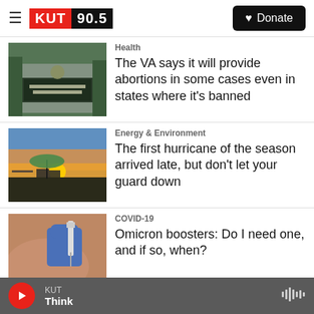[Figure (screenshot): KUT 90.5 radio station header with hamburger menu, KUT logo in red, 90.5 in black, and Donate button]
Health
The VA says it will provide abortions in some cases even in states where it's banned
[Figure (photo): Department of Veterans Affairs sign on building exterior]
Energy & Environment
The first hurricane of the season arrived late, but don't let your guard down
[Figure (photo): Beach chairs and umbrella silhouetted against sunset sky]
COVID-19
Omicron boosters: Do I need one, and if so, when?
[Figure (photo): Person receiving injection/vaccine in arm with blue gloved hand]
KUT Think